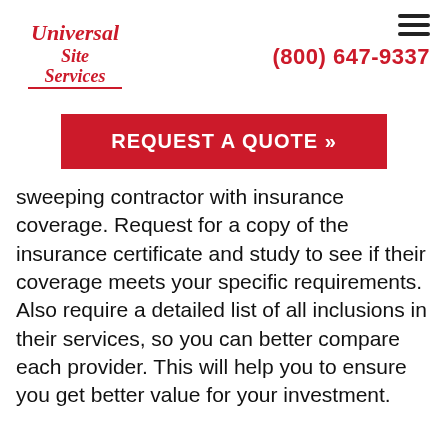[Figure (logo): Universal Site Services logo in red cursive script]
(800) 647-9337
REQUEST A QUOTE »
sweeping contractor with insurance coverage. Request for a copy of the insurance certificate and study to see if their coverage meets your specific requirements. Also require a detailed list of all inclusions in their services, so you can better compare each provider. This will help you to ensure you get better value for your investment.